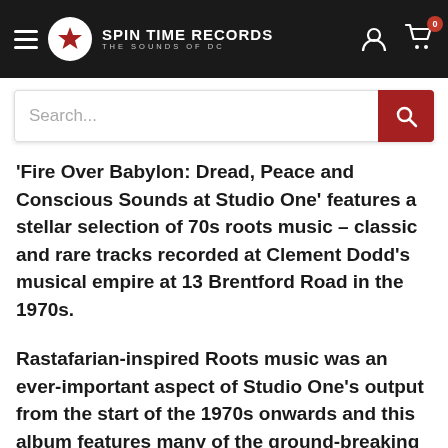[Figure (logo): Spin Time Records logo with red star on white circle and text 'Spin Time Records - The Sounds of DC' in white on black navigation bar]
Search...
'Fire Over Babylon: Dread, Peace and Conscious Sounds at Studio One' features a stellar selection of 70s roots music – classic and rare tracks recorded at Clement Dodd's musical empire at 13 Brentford Road in the 1970s.
Rastafarian-inspired Roots music was an ever-important aspect of Studio One's output from the start of the 1970s onwards and this album features many of the ground-breaking groups and artists that established the sound of Jamaica during this decade and beyond.
Featured here are seminal artists such as Freddie McGregor, The